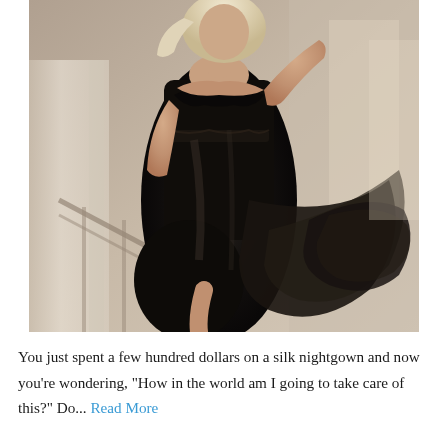[Figure (photo): A blonde woman wearing a black satin slip nightgown with lace trim detail at the bust and waist, standing on a staircase. The dress flows dramatically. Background shows white architectural columns and soft lighting.]
You just spent a few hundred dollars on a silk nightgown and now you're wondering, "How in the world am I going to take care of this?" Do... Read More